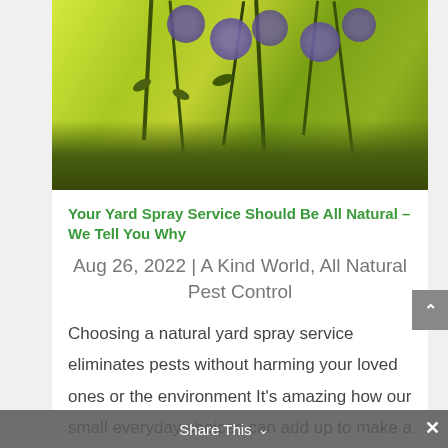[Figure (photo): Outdoor photo of purple wildflowers (asters) with green stems and leaves against a bright yellow-green background.]
Your Yard Spray Service Should Be All Natural – We Tell You Why
Aug 26, 2022 | A Kind World, All Natural Pest Control
Choosing a natural yard spray service eliminates pests without harming your loved ones or the environment It's amazing how our small everyday choices can add up to make a big difference. Something as simple as choosing to swap out synthetic